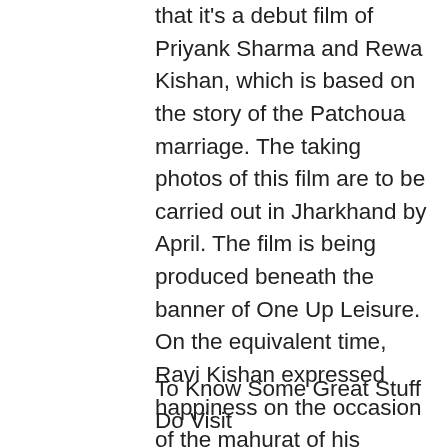that it's a debut film of Priyank Sharma and Rewa Kishan, which is based on the story of the Patchoua marriage. The taking photos of this film are to be carried out in Jharkhand by April. The film is being produced beneath the banner of One Up Leisure. On the equivalent time, Ravi Kishan expressed happiness on the occasion of the mahurat of his daughter Rewa's first film 'Sab Kushal Mangal' and talked about, 'I am proud that my daughter's occupation is starting from the land of Jharkhand'.
To Know Some Great Stuff Do Visit